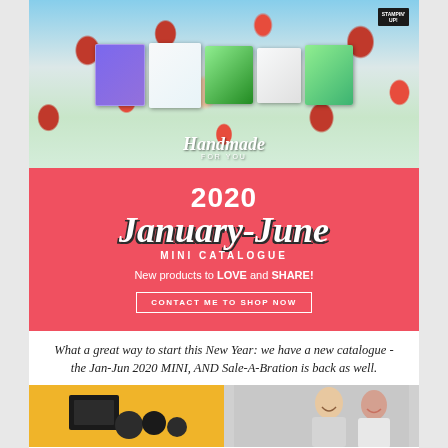[Figure (photo): Stampin' Up! catalogue cover photo showing handmade greeting cards with poppy/flower designs arranged in front of a field of red flowers. Text overlay reads 'Handmade FOR YOU'. Stamp Up logo in top right corner.]
[Figure (infographic): Red/coral banner with '2020 January-June MINI CATALOGUE' in large stylized text, tagline 'New products to LOVE and SHARE!' and a 'CONTACT ME TO SHOP NOW' button.]
What a great way to start this New Year: we have a new catalogue - the Jan-Jun 2020 MINI, AND Sale-A-Bration is back as well.
[Figure (photo): Bottom strip showing two images side by side: left side has yellow background with dark product/craft items; right side shows two women smiling.]